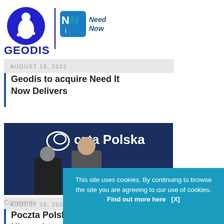[Figure (logo): GEODIS logo (blue circle with figure) and Need It Now Delivers logo side by side with a vertical blue divider line, and GEODIS text below]
AUGUST 19, 2022
Geodis to acquire Need It Now Delivers
[Figure (photo): People standing in front of a Poczta Polska banner at a signing ceremony]
AUGUST 18, 2022
Poczta Polska and Ukrposhta sign memorandum of cooperation
Comments
This site uses cookies. By continuing to browse the site you are agreeing to our use of cookies. Find out more here   [X]